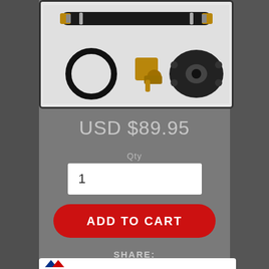[Figure (photo): Product image showing automotive parts: a black hose with brass fittings, an O-ring, a brass elbow fitting, and a black sensor adapter/flange]
USD $89.95
Qty
1
ADD TO CART
SHARE:
Share
Tweet
Pin it